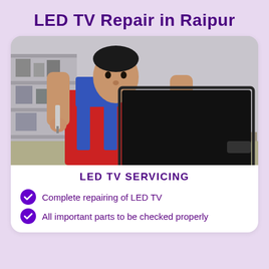LED TV Repair in Raipur
[Figure (photo): A technician in a red shirt and blue overalls holding and inspecting a flat screen LED TV in a room with shelves]
LED TV SERVICING
Complete repairing of LED TV
All important parts to be checked properly